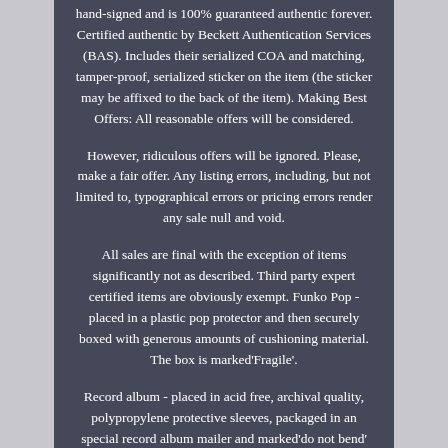hand-signed and is 100% guaranteed authentic forever. Certified authentic by Beckett Authentication Services (BAS). Includes their serialized COA and matching, tamper-proof, serialized sticker on the item (the sticker may be affixed to the back of the item). Making Best Offers: All reasonable offers will be considered.
However, ridiculous offers will be ignored. Please, make a fair offer. Any listing errors, including, but not limited to, typographical errors or pricing errors render any sale null and void.
All sales are final with the exception of items significantly not as described. Third party expert certified items are obviously exempt. Funko Pop - placed in a plastic pop protector and then securely boxed with generous amounts of cushioning material. The box is marked'Fragile'.
Record album - placed in acid free, archival quality, polypropylene protective sleeves, packaged in an special record album mailer and marked'do not bend' and'fragile'. Other collectibles - placed in protective packaging then boxed with generous amounts of cushioning material. In all cases, our simple desire is that your item arrives safely! We want your shopping